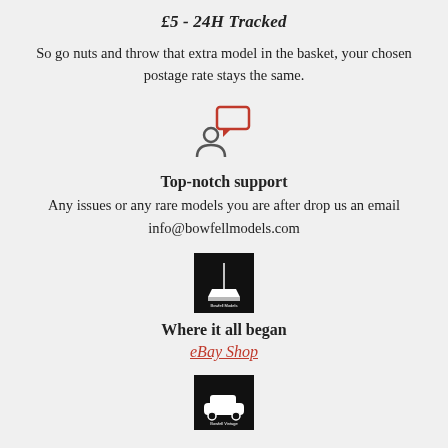£5 - 24H Tracked
So go nuts and throw that extra model in the basket, your chosen postage rate stays the same.
[Figure (illustration): Icon of a person with a speech/chat bubble above them, outline style in dark gray and red]
Top-notch support
Any issues or any rare models you are after drop us an email
info@bowfellmodels.com
[Figure (logo): Bowfell Models logo — black square with white ship/boat silhouette and text]
Where it all began
eBay Shop
[Figure (logo): Bowfell Vintage logo — black square with car/vehicle graphic and text]